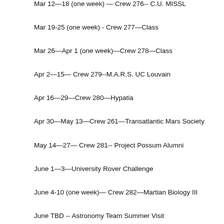Mar 12—18 (one week) — Crew 276-- C.U. MISSL
Mar 19-25 (one week) - Crew 277—Class
Mar 26—Apr 1 (one week)—Crew 278—Class
Apr 2—15— Crew 279--M.A.R.S. UC Louvain
Apr 16—29—Crew 280—Hypatia
Apr 30—May 13—Crew 261—Transatlantic Mars Society
May 14—27— Crew 281-- Project Possum Alumni
June 1—3—University Rover Challenge
June 4-10 (one week)— Crew 282—Martian Biology III
June TBD -- Astronomy Team Summer Visit